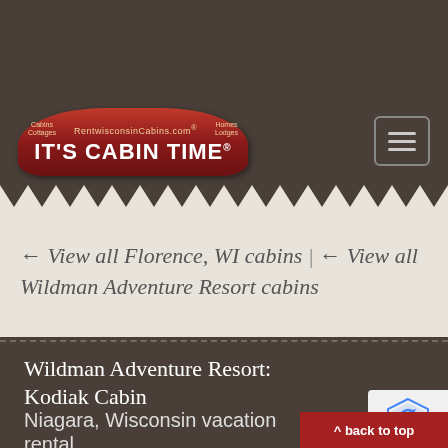[Figure (logo): It's Cabin Time logo with red shield shape, subtitle RentwisconsinCabins.com, with Cabins/Cottages on left and Homes/Lodges on right]
← View all Florence, WI cabins | ← View all Wildman Adventure Resort cabins
Wildman Adventure Resort: Kodiak Cabin
Niagara, Wisconsin vacation rental